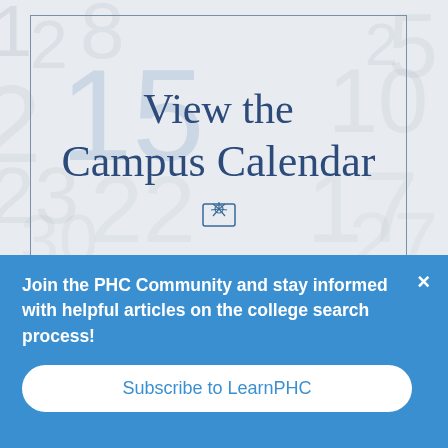[Figure (illustration): Calendar background image with large faded numbers and a bordered box. Center text reads 'View the Campus Calendar' in dark blue serif font, with a small PHC sunburst logo below.]
Join the PHC Community and stay informed with helpful articles on the college search process!
Subscribe to LearnPHC